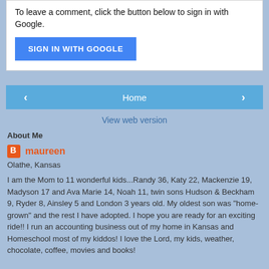To leave a comment, click the button below to sign in with Google.
[Figure (screenshot): Blue 'SIGN IN WITH GOOGLE' button]
[Figure (screenshot): Navigation bar with left arrow, Home button, and right arrow]
View web version
About Me
maureen
Olathe, Kansas
I am the Mom to 11 wonderful kids...Randy 36, Katy 22, Mackenzie 19, Madyson 17 and Ava Marie 14, Noah 11, twin sons Hudson & Beckham 9, Ryder 8, Ainsley 5 and London 3 years old. My oldest son was "home-grown" and the rest I have adopted. I hope you are ready for an exciting ride!! I run an accounting business out of my home in Kansas and Homeschool most of my kiddos! I love the Lord, my kids, weather, chocolate, coffee, movies and books!